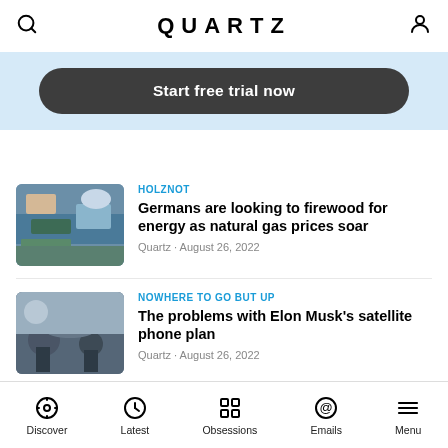QUARTZ
Start free trial now
[Figure (photo): People handling firewood outdoors with blue tarps and yellow containers visible]
HOLZNOT
Germans are looking to firewood for energy as natural gas prices soar
Quartz · August 26, 2022
[Figure (photo): People sitting outdoors, possibly at an event or gathering]
NOWHERE TO GO BUT UP
The problems with Elon Musk's satellite phone plan
Quartz · August 26, 2022
Discover  Latest  Obsessions  Emails  Menu